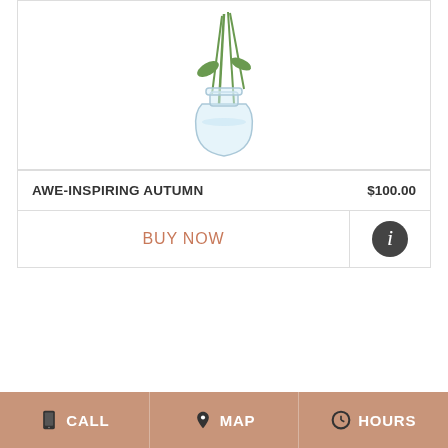[Figure (photo): Flower arrangement in a clear glass vase with green stems, partially cropped at top]
AWE-INSPIRING AUTUMN           $100.00
BUY NOW
[Figure (photo): Yellow and orange gerbera daisy autumn flower arrangement with pine cones, green berries, orange ranunculus, and greenery, cut off at bottom]
CALL   MAP   HOURS